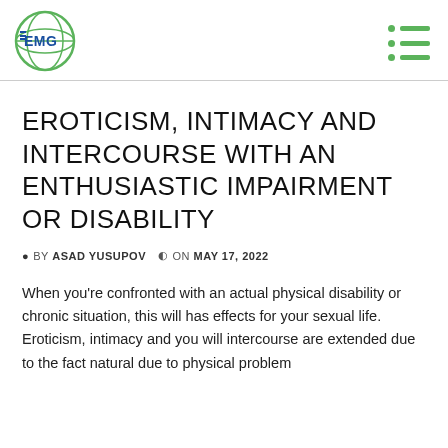EMG logo and navigation menu
EROTICISM, INTIMACY AND INTERCOURSE WITH AN ENTHUSIASTIC IMPAIRMENT OR DISABILITY
BY ASAD YUSUPOV  ON MAY 17, 2022
When you're confronted with an actual physical disability or chronic situation, this will has effects for your sexual life. Eroticism, intimacy and you will intercourse are extended due to the fact natural due to physical problem